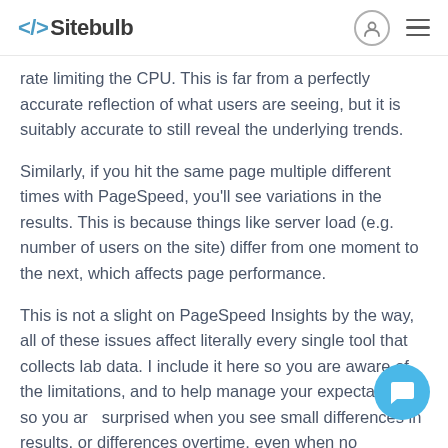</> Sitebulb
rate limiting the CPU. This is far from a perfectly accurate reflection of what users are seeing, but it is suitably accurate to still reveal the underlying trends.
Similarly, if you hit the same page multiple different times with PageSpeed, you'll see variations in the results. This is because things like server load (e.g. number of users on the site) differ from one moment to the next, which affects page performance.
This is not a slight on PageSpeed Insights by the way, all of these issues affect literally every single tool that collects lab data. I include it here so you are aware of the limitations, and to help manage your expectations, so you are not surprised when you see small differences in results, or differences overtime, even when no